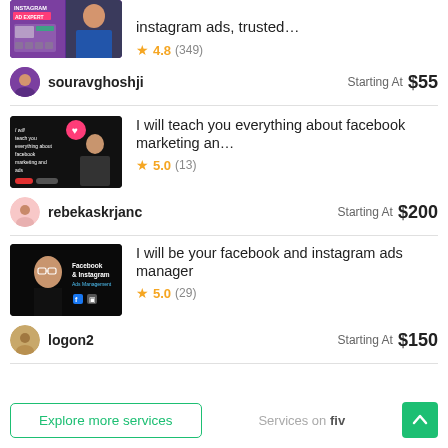[Figure (screenshot): Partial Instagram Ad Expert service thumbnail (purple/black with man in blue shirt)]
instagram ads, trusted…
★ 4.8 (349)
souravghoshji   Starting At  $55
[Figure (screenshot): Facebook marketing and ads teaching service thumbnail - dark image with heart icon and person seated]
I will teach you everything about facebook marketing an…
★ 5.0 (13)
rebekaskrjanc   Starting At  $200
[Figure (screenshot): Facebook & Instagram Ads Management service thumbnail - man with glasses on dark background]
I will be your facebook and instagram ads manager
★ 5.0 (29)
logon2   Starting At  $150
Explore more services
Services on fiv